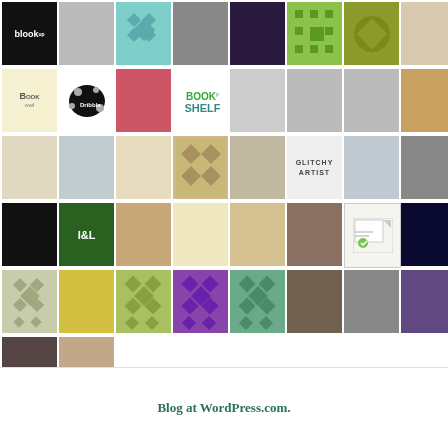[Figure (other): A grid of approximately 42 user avatar images arranged in 6 rows of 8 columns. Avatars include profile photos, illustrated logos, patterned icons, and text-based images including 'blook', 'Dribbble splat', 'BOOK SHELF', 'GLITCHY ARTIST', 'I&L', and geometric quilt-style patterns.]
Blog at WordPress.com.